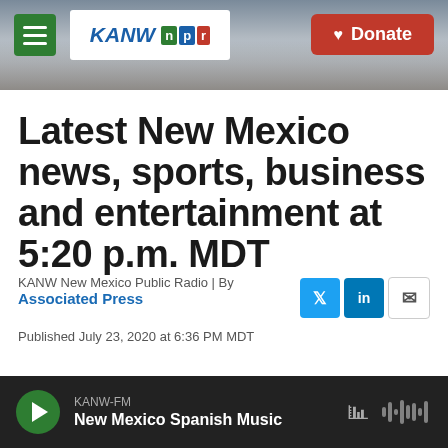[Figure (screenshot): KANW NPR radio website header with mountain landscape background, green hamburger menu icon, KANW NPR logo, and red Donate button]
Latest New Mexico news, sports, business and entertainment at 5:20 p.m. MDT
KANW New Mexico Public Radio | By Associated Press
Published July 23, 2020 at 6:36 PM MDT
[Figure (screenshot): Audio player bar with play button, KANW-FM station name, and New Mexico Spanish Music track title with waveform icon]